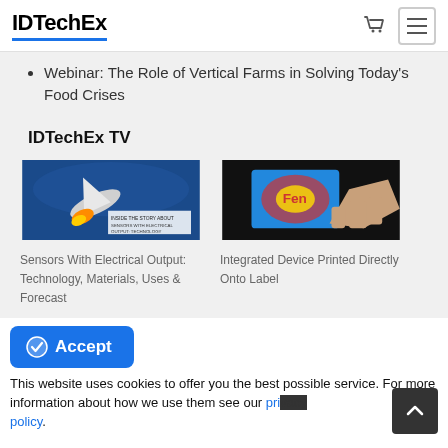IDTechEx
Webinar: The Role of Vertical Farms in Solving Today's Food Crises
IDTechEx TV
[Figure (photo): Thumbnail image of rocket/aircraft with fire and text overlay about sensors]
[Figure (photo): Thumbnail image of colorful printed label with hand holding it]
Sensors With Electrical Output: Technology, Materials, Uses & Forecast
Integrated Device Printed Directly Onto Label
More
This website uses cookies to offer you the best possible service. For more information about how we use them see our privacy policy.